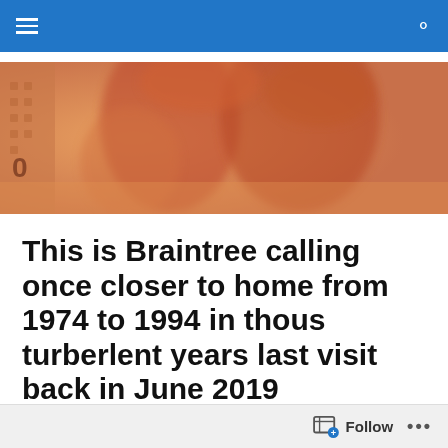Navigation bar with hamburger menu and search icon
[Figure (photo): Sepia/orange-tinted blurry photograph of people, likely a vintage or retro image used as a hero banner]
This is Braintree calling once closer to home from 1974 to 1994 in thous turberlent years last visit back in June 2019
braintree this Towne has many ghosts that haunt thee Towne center thee most famous beeing thee headless
Follow ...